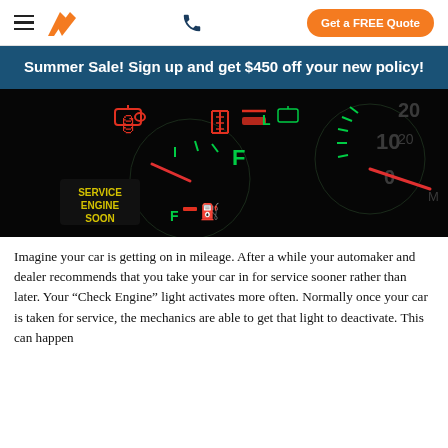Get a FREE Quote
Summer Sale! Sign up and get $450 off your new policy!
[Figure (photo): Car dashboard at night showing illuminated warning lights including SERVICE ENGINE SOON in yellow, oil pressure warning, fuel gauge pointing near empty, and other instrument cluster gauges glowing in red and green.]
Imagine your car is getting on in mileage. After a while your automaker and dealer recommends that you take your car in for service sooner rather than later. Your “Check Engine” light activates more often. Normally once your car is taken for service, the mechanics are able to get that light to deactivate. This can happen